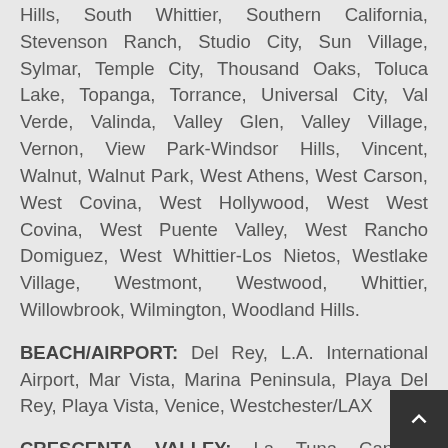Hills, South Whittier, Southern California, Stevenson Ranch, Studio City, Sun Village, Sylmar, Temple City, Thousand Oaks, Toluca Lake, Topanga, Torrance, Universal City, Val Verde, Valinda, Valley Glen, Valley Village, Vernon, View Park-Windsor Hills, Vincent, Walnut, Walnut Park, West Athens, West Carson, West Covina, West Hollywood, West West Covina, West Puente Valley, West Rancho Domiguez, West Whittier-Los Nietos, Westlake Village, Westmont, Westwood, Whittier, Willowbrook, Wilmington, Woodland Hills.
BEACH/AIRPORT: Del Rey, L.A. International Airport, Mar Vista, Marina Peninsula, Playa Del Rey, Playa Vista, Venice, Westchester/LAX
CRESCENTA VALLEY: La Tuna Canyon, Lakeview Terrace, Shadow Hills, Sunland,